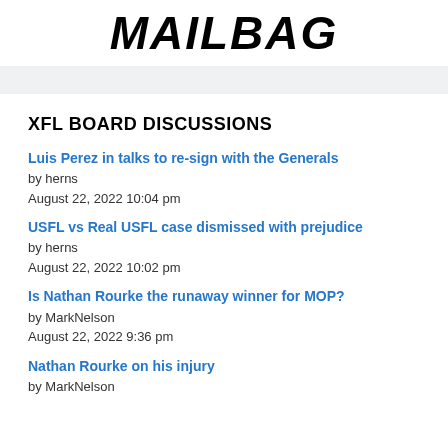MAILBAG
XFL BOARD DISCUSSIONS
Luis Perez in talks to re-sign with the Generals
by herns
August 22, 2022 10:04 pm
USFL vs Real USFL case dismissed with prejudice
by herns
August 22, 2022 10:02 pm
Is Nathan Rourke the runaway winner for MOP?
by MarkNelson
August 22, 2022 9:36 pm
Nathan Rourke on his injury
by MarkNelson